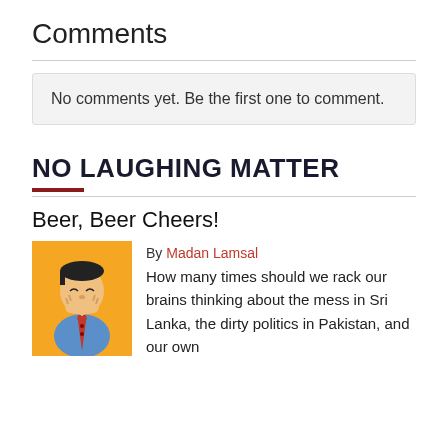Comments
No comments yet. Be the first one to comment.
NO LAUGHING MATTER
Beer, Beer Cheers!
[Figure (illustration): Cartoon illustration of a man laughing on an orange background]
By Madan Lamsal
How many times should we rack our brains thinking about the mess in Sri Lanka, the dirty politics in Pakistan, and our own